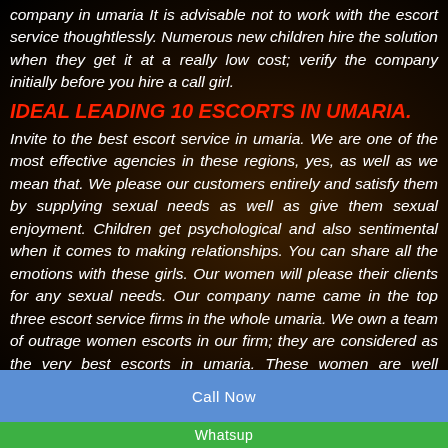company in umaria It is advisable not to work with the escort service thoughtlessly. Numerous new children hire the solution when they get it at a really low cost; verify the company initially before you hire a call girl.
IDEAL LEADING 10 ESCORTS IN UMARIA.
Invite to the best escort service in umaria. We are one of the most effective agencies in these regions, yes, as well as we mean that. We please our customers entirely and satisfy them by supplying sexual needs as well as give them sexual enjoyment. Children get psychological and also sentimental when it comes to making relationships. You can share all the emotions with these girls. Our women will please their clients for any sexual needs. Our company name came in the top three escort service firms in the whole umaria. We own a team of outrage women escorts in our firm; they are considered as the very best escorts in umaria. These women are well educated, as well as they offer leisure and appropriate pleasure to their customers.
Call Now
Whatsup